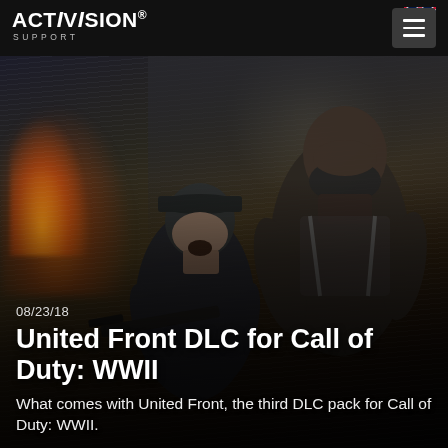Activision Support
[Figure (screenshot): Activision Support website header screenshot showing the Activision logo on the left, a UK flag icon and hamburger menu button on the right, all on a dark/black background navigation bar.]
[Figure (photo): Promotional game art for Call of Duty: WWII United Front DLC showing two soldiers in combat in a dark rainy wartime scene with fire and explosions in the background.]
08/23/18
United Front DLC for Call of Duty: WWII
What comes with United Front, the third DLC pack for Call of Duty: WWII.